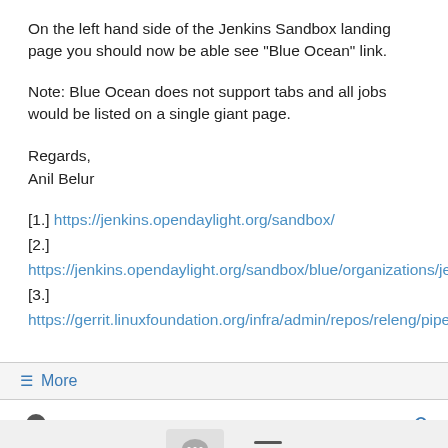On the left hand side of the Jenkins Sandbox landing page you should now be able see "Blue Ocean" link.
Note: Blue Ocean does not support tabs and all jobs would be listed on a single giant page.
Regards,
Anil Belur
[1.] https://jenkins.opendaylight.org/sandbox/
[2.] https://jenkins.opendaylight.org/sandbox/blue/organizations/jenkins/pipelines
[3.] https://gerrit.linuxfoundation.org/infra/admin/repos/releng/pipelines
≡ More
Robert Varga
10/01/21